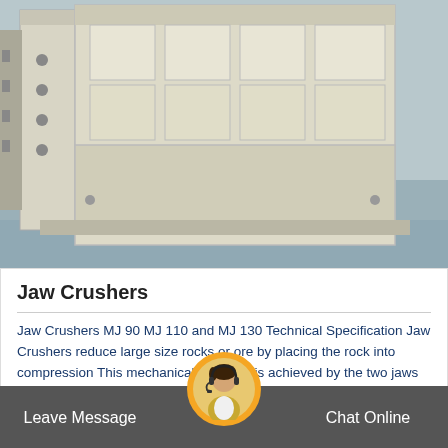[Figure (photo): Industrial jaw crusher machine components in a factory setting, showing a large heavy-duty metal frame structure with compartmentalized sections, on a concrete factory floor]
Jaw Crushers
Jaw Crushers MJ 90 MJ 110 and MJ 130 Technical Specification Jaw Crushers reduce large size rocks or ore by placing the rock into compression This mechanical pressure is achieved by the two jaws of the crusher of which one is fixed while the other reciprocates…
[Figure (other): Get Price > button (dark blue parallelogram/arrow shape)]
[Figure (other): Scroll to top button (orange circle with upward chevron)]
Leave Message   Chat Online